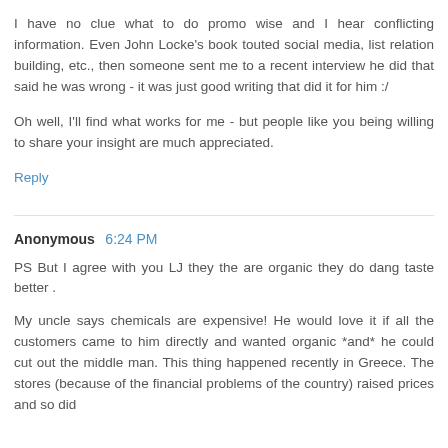I have no clue what to do promo wise and I hear conflicting information. Even John Locke's book touted social media, list relation building, etc., then someone sent me to a recent interview he did that said he was wrong - it was just good writing that did it for him :/
Oh well, I'll find what works for me - but people like you being willing to share your insight are much appreciated.
Reply
Anonymous  6:24 PM
PS But I agree with you LJ they the are organic they do dang taste better .
My uncle says chemicals are expensive! He would love it if all the customers came to him directly and wanted organic *and* he could cut out the middle man. This thing happened recently in Greece. The stores (because of the financial problems of the country) raised prices and so did